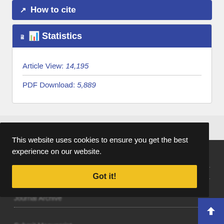How to cite
Statistics
Article View: 14,195
PDF Download: 5,889
Explore journal
This website uses cookies to ensure you get the best experience on our website.
Got it!